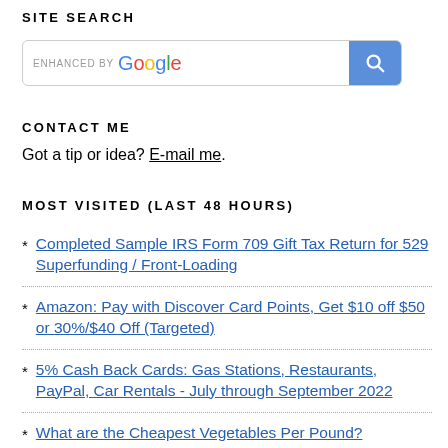SITE SEARCH
[Figure (other): Google search bar with 'ENHANCED BY Google' label and blue search button with magnifying glass icon]
CONTACT ME
Got a tip or idea? E-mail me.
MOST VISITED (LAST 48 HOURS)
Completed Sample IRS Form 709 Gift Tax Return for 529 Superfunding / Front-Loading
Amazon: Pay with Discover Card Points, Get $10 off $50 or 30%/$40 Off (Targeted)
5% Cash Back Cards: Gas Stations, Restaurants, PayPal, Car Rentals - July through September 2022
What are the Cheapest Vegetables Per Pound?